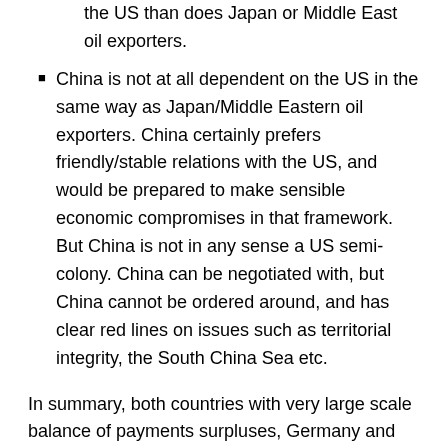the US than does Japan or Middle East oil exporters.
China is not at all dependent on the US in the same way as Japan/Middle Eastern oil exporters. China certainly prefers friendly/stable relations with the US, and would be prepared to make sensible economic compromises in that framework. But China is not in any sense a US semi-colony. China can be negotiated with, but China cannot be ordered around, and has clear red lines on issues such as territorial integrity, the South China Sea etc.
In summary, both countries with very large scale balance of payments surpluses, Germany and China, to different degrees, are much harder for the US to extract resources from than Japan or the Middle Eastern oil exporters.
Outside of these, two areas exist where modest US gains for international financing can be made. South Korea and Taiwan